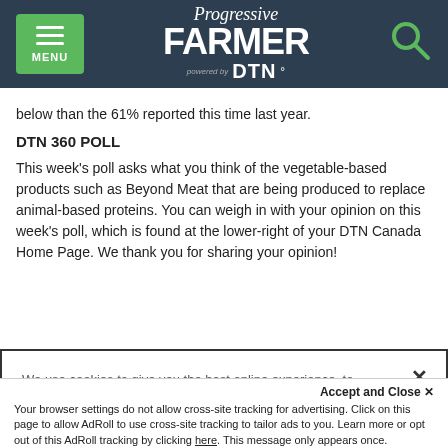Progressive FARMER powered by DTN
below than the 61% reported this time last year.
DTN 360 POLL
This week's poll asks what you think of the vegetable-based products such as Beyond Meat that are being produced to replace animal-based proteins. You can weigh in with your opinion on this week's poll, which is found at the lower-right of your DTN Canada Home Page. We thank you for sharing your opinion!
We use cookies to give you the best online experience, to personalize content and ads, to provide social media features and to analyze traffic. By clicking 'Accept All Cookies' you will allow the use of these cookies. Your settings can be changed, including withdrawing your consent at any time, by clicking 'Cookie Settings'. Find out more on how we and third parties use cookies in our Cookie Policy
Accept and Close ×
Your browser settings do not allow cross-site tracking for advertising. Click on this page to allow AdRoll to use cross-site tracking to tailor ads to you. Learn more or opt out of this AdRoll tracking by clicking here. This message only appears once.